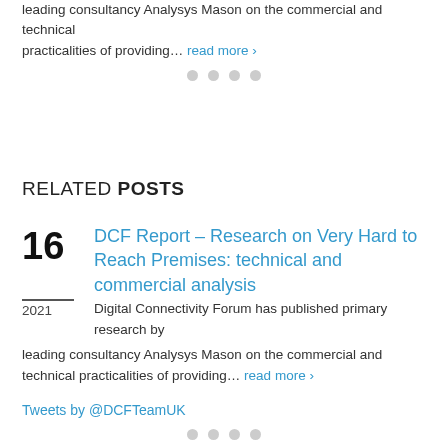leading consultancy Analysys Mason on the commercial and technical practicalities of providing... read more >
RELATED POSTS
16
DCF Report – Research on Very Hard to Reach Premises: technical and commercial analysis
2021
Digital Connectivity Forum has published primary research by leading consultancy Analysys Mason on the commercial and technical practicalities of providing... read more >
Tweets by @DCFTeamUK